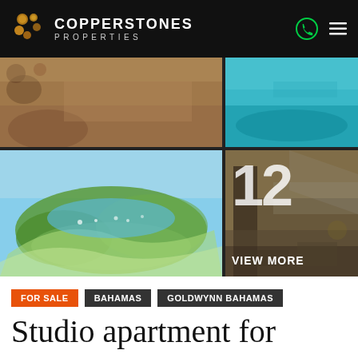COPPERSTONES PROPERTIES
[Figure (photo): Four-image grid showing luxury property photos: top-left aerial/garden view, top-right swimming pool, bottom-left aerial island/harbor view, bottom-right luxury hotel lobby with '12 VIEW MORE' overlay]
FOR SALE   BAHAMAS   GOLDWYNN BAHAMAS
Studio apartment for